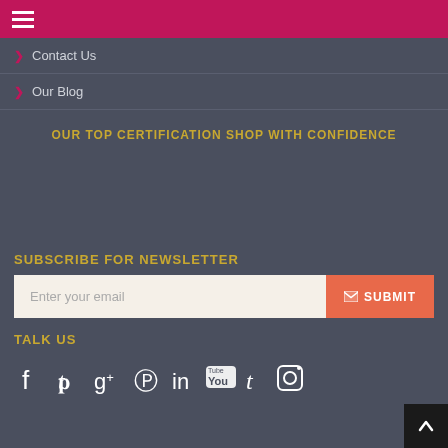≡
> Contact Us
> Our Blog
OUR TOP CERTIFICATION SHOP WITH CONFIDENCE
SUBSCRIBE FOR NEWSLETTER
Enter your email | SUBMIT
TALK US
[Figure (other): Social media icons: Facebook, Twitter, Google+, Pinterest, LinkedIn, YouTube, Tumblr, Instagram]